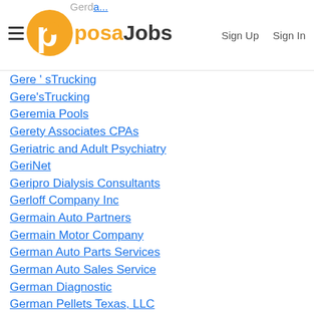PosaJobs | Sign Up | Sign In
Gere ' sTrucking
Gere'sTrucking
Geremia Pools
Gerety Associates CPAs
Geriatric and Adult Psychiatry
GeriNet
Geripro Dialysis Consultants
Gerloff Company Inc
Germain Auto Partners
Germain Motor Company
German Auto Parts Services
German Auto Sales Service
German Diagnostic
German Pellets Texas, LLC
GermanBliss Equipment Inc
GermanDelicom
Germani Insurance Services
Germania Insurance Companies
Germanna Community College
GERMANTOWN CENTRAL SCHOOL